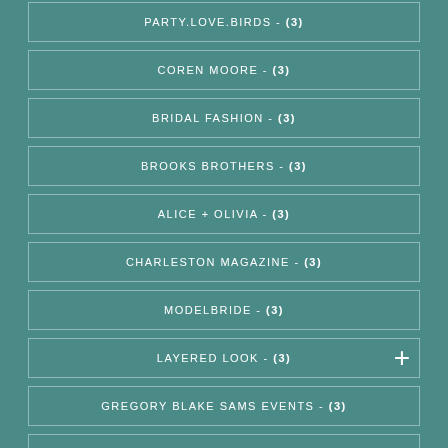PARTY.LOVE.BIRDS - (3)
COREN MOORE - (3)
BRIDAL FASHION - (3)
BROOKS BROTHERS - (3)
ALICE + OLIVIA - (3)
CHARLESTON MAGAZINE - (3)
MODELBRIDE - (3)
LAYERED LOOK - (3)
GREGORY BLAKE SAMS EVENTS - (3)
BETTY BRIDAL ATELIER - (3)
HEATHER FORSYTHE PHOTOGRAPHY - (3)